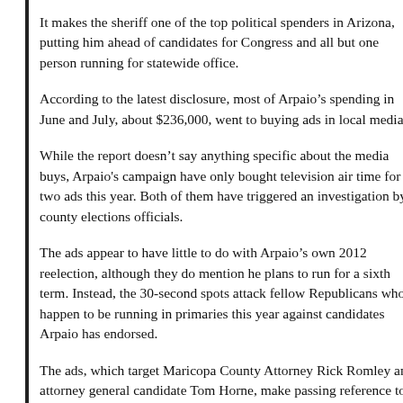It makes the sheriff one of the top political spenders in Arizona, putting him ahead of candidates for Congress and all but one person running for statewide office.
According to the latest disclosure, most of Arpaio's spending in June and July, about $236,000, went to buying ads in local media.
While the report doesn't say anything specific about the media buys, Arpaio's campaign have only bought television air time for two ads this year. Both of them have triggered an investigation by county elections officials.
The ads appear to have little to do with Arpaio's own 2012 reelection, although they do mention he plans to run for a sixth term. Instead, the 30-second spots attack fellow Republicans who happen to be running in primaries this year against candidates Arpaio has endorsed.
The ads, which target Maricopa County Attorney Rick Romley and attorney general candidate Tom Horne, make passing reference to Arpaio but go on to lump those candidates in with Democratic President Barack Obama and liberal politicians.
Arpaio has endorsed Romley's primary challenger Bill Montgomery and Horne's opponent, Andrew Thomas.
After a complaint by Romley earlier this month, the county elections department opened an investigation into the ads, trying to determine whether Arpaio is allowed to spend campaign money on ads that don't relate to his own race.